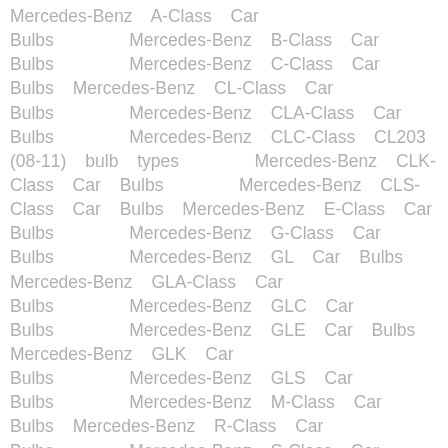Mercedes-Benz A-Class Car Bulbs    Mercedes-Benz B-Class Car Bulbs    Mercedes-Benz C-Class Car Bulbs    Mercedes-Benz CL-Class Car Bulbs    Mercedes-Benz CLA-Class Car Bulbs    Mercedes-Benz CLC-Class CL203 (08-11) bulb types    Mercedes-Benz CLK-Class Car Bulbs    Mercedes-Benz CLS-Class Car Bulbs    Mercedes-Benz E-Class Car Bulbs    Mercedes-Benz G-Class Car Bulbs    Mercedes-Benz GL Car Bulbs    Mercedes-Benz GLA-Class Car Bulbs    Mercedes-Benz GLC Car Bulbs    Mercedes-Benz GLE Car Bulbs    Mercedes-Benz GLK Car Bulbs    Mercedes-Benz GLS Car Bulbs    Mercedes-Benz M-Class Car Bulbs    Mercedes-Benz R-Class Car Bulbs    Mercedes-Benz S-Class Car Bulbs    Mercedes-Benz SLC-Class Car Bulbs    Mercedes-Benz SLK-Class Car Bulbs    Mercedes-Benz V-Class Car Bulbs    Mercedes-Benz Viano Car Bulbs    Mercedes-Benz Vito Class Car Bulbs